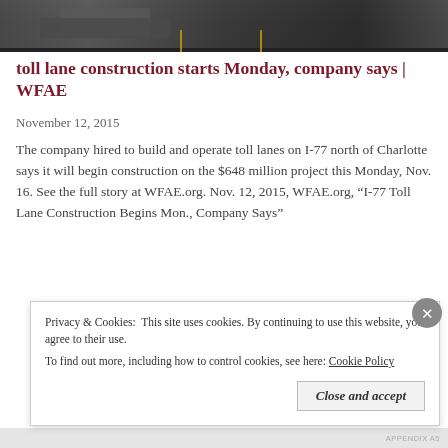[Figure (photo): Aerial or road-level photograph showing highway/road construction area, dark tones]
toll lane construction starts Monday, company says | WFAE
November 12, 2015
The company hired to build and operate toll lanes on I-77 north of Charlotte says it will begin construction on the $648 million project this Monday, Nov. 16. See the full story at WFAE.org. Nov. 12, 2015, WFAE.org, “I-77 Toll Lane Construction Begins Mon., Company Says”
Privacy & Cookies: This site uses cookies. By continuing to use this website, you agree to their use. To find out more, including how to control cookies, see here: Cookie Policy
Close and accept